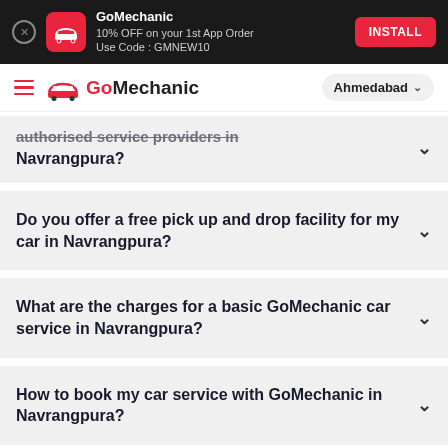[Figure (screenshot): GoMechanic app install banner with red icon, app name, discount text, and INSTALL button]
GoMechanic — Ahmedabad
authorised service providers in Navrangpura?
Do you offer a free pick up and drop facility for my car in Navrangpura?
What are the charges for a basic GoMechanic car service in Navrangpura?
How to book my car service with GoMechanic in Navrangpura?